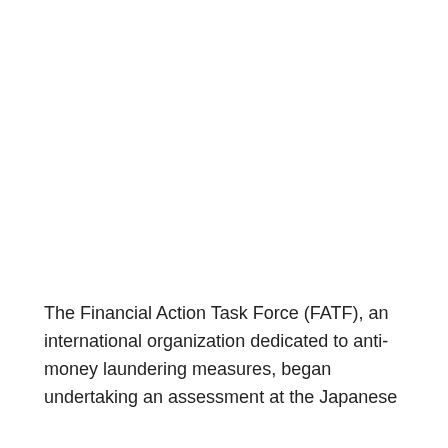The Financial Action Task Force (FATF), an international organization dedicated to anti-money laundering measures, began undertaking an assessment at the Japanese